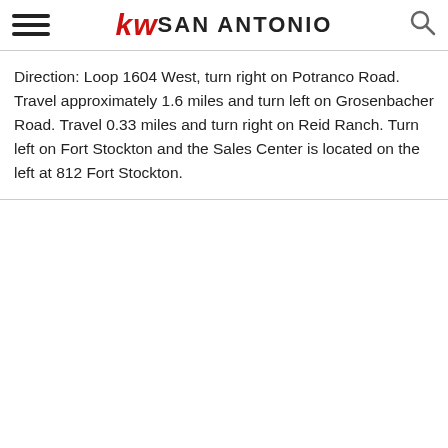KW SAN ANTONIO
Direction: Loop 1604 West, turn right on Potranco Road. Travel approximately 1.6 miles and turn left on Grosenbacher Road. Travel 0.33 miles and turn right on Reid Ranch. Turn left on Fort Stockton and the Sales Center is located on the left at 812 Fort Stockton.